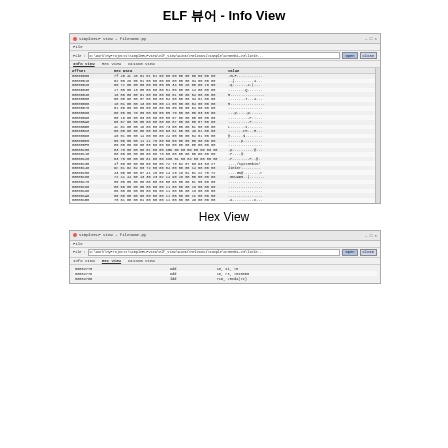ELF 뷰어 - Info View
[Figure (screenshot): SimpleELF View application window showing Info View tab with hex dump of ELF binary file. Columns: Offset, Hex Data, Value. Shows offsets from 00000000 to 00000200 with hex bytes and ASCII representation.]
Hex View
[Figure (screenshot): SimpleELF View application window showing Hex View tab with disassembly/hex listing. Shows entries like: 00002770 add 18, si, #5; 00002778 add 18, rs, #0x6000; 00002780 add 27, r16, #0x4(r2)]